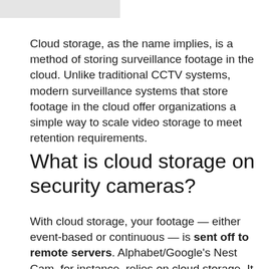Cloud storage, as the name implies, is a method of storing surveillance footage in the cloud. Unlike traditional CCTV systems, modern surveillance systems that store footage in the cloud offer organizations a simple way to scale video storage to meet retention requirements.
What is cloud storage on security cameras?
With cloud storage, your footage — either event-based or continuous — is sent off to remote servers. Alphabet/Google's Nest Cam, for instance, relies on cloud storage. It